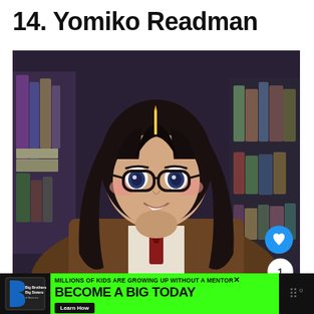14. Yomiko Readman
[Figure (illustration): Anime illustration of Yomiko Readman, a female character with long black hair, round glasses, blushing cheeks, wearing a brown coat and red tie, resting her chin on her hand with a smile. Bookshelves with stacked books visible in the background. Social interaction buttons (heart/like, count 1, share) visible on the right side.]
MILLIONS OF KIDS ARE GROWING UP WITHOUT A MENTOR. BECOME A BIG TODAY